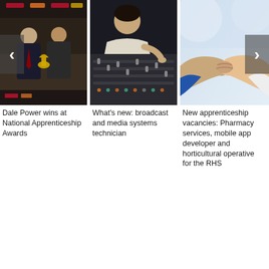[Figure (photo): Two men in suits at National Apprenticeship Awards ceremony, holding a trophy, with sponsor banners in background]
[Figure (photo): Person operating a broadcast mixing console / audio mixing desk in a dark studio setting]
[Figure (photo): Two people shaking hands, business handshake, white background]
Dale Power wins at National Apprenticeship Awards
What's new: broadcast and media systems technician
New apprenticeship vacancies: Pharmacy services, mobile app developer and horticultural operative for the RHS